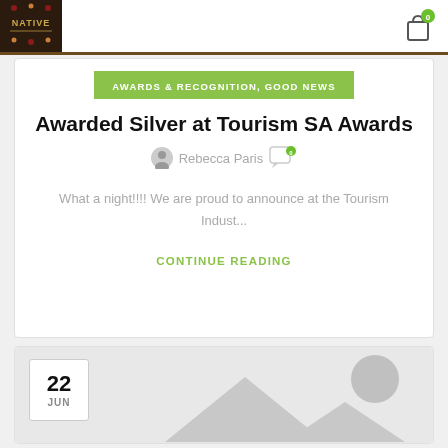[Figure (logo): Native food logo – dark brown background with gold text 'NATIVE' and decorative dots]
[Figure (illustration): Shopping cart / bag icon with green badge showing 0]
AWARDS & RECOGNITION, GOOD NEWS
Awarded Silver at Tourism SA Awards
Rebecca Paris  0
What a night!!!! We are proud to announce at the Tourism Indust...
CONTINUE READING
22 JUN
[Figure (illustration): Placeholder image with grey mountains and circle on light grey background]